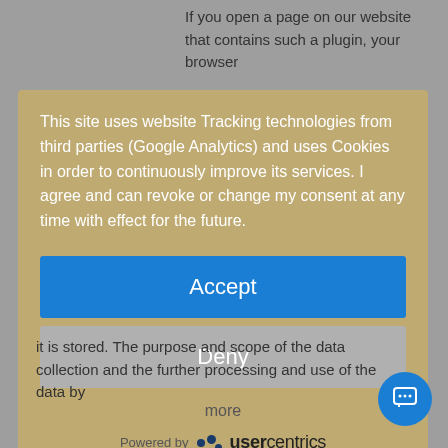If you open a page on our website that contains such a plugin, your browser
This site uses website Tracking technologies from third parties (Google Analytics) and uses Cookies in order to continuously improve its services. I agree and can revoke or change my consent at any time with effect for the future.
Accept
Deny
more
Powered by usercentrics
Imprint | Privacy Policy
it is stored. The purpose and scope of the data collection and the further processing and use of the data by